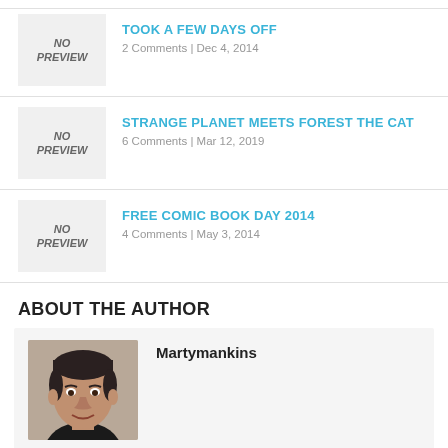TOOK A FEW DAYS OFF | 2 Comments | Dec 4, 2014
STRANGE PLANET MEETS FOREST THE CAT | 6 Comments | Mar 12, 2019
FREE COMIC BOOK DAY 2014 | 4 Comments | May 3, 2014
ABOUT THE AUTHOR
Martymankins